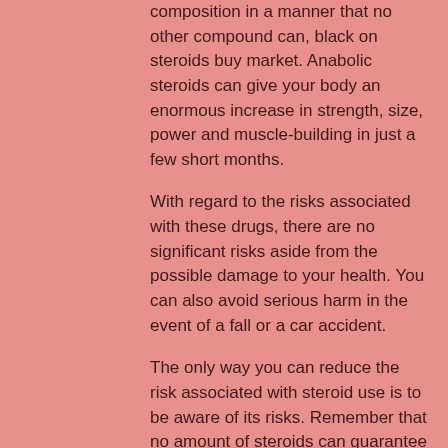composition in a manner that no other compound can, black on steroids buy market. Anabolic steroids can give your body an enormous increase in strength, size, power and muscle-building in just a few short months.
With regard to the risks associated with these drugs, there are no significant risks aside from the possible damage to your health. You can also avoid serious harm in the event of a fall or a car accident.
The only way you can reduce the risk associated with steroid use is to be aware of its risks. Remember that no amount of steroids can guarantee you to never get ill or injured from taking these substances if you use them responsibly. You should also be aware of the harmful effects on your sexual function, steroids for lean muscle building.